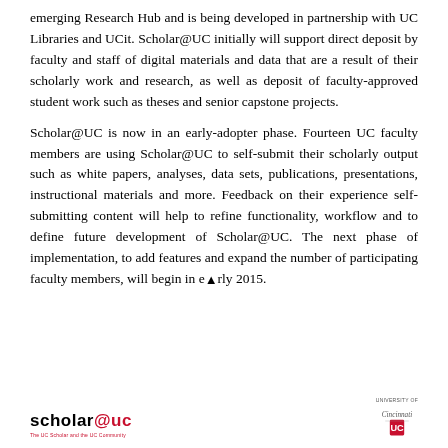emerging Research Hub and is being developed in partnership with UC Libraries and UCit. Scholar@UC initially will support direct deposit by faculty and staff of digital materials and data that are a result of their scholarly work and research, as well as deposit of faculty-approved student work such as theses and senior capstone projects.
Scholar@UC is now in an early-adopter phase. Fourteen UC faculty members are using Scholar@UC to self-submit their scholarly output such as white papers, analyses, data sets, publications, presentations, instructional materials and more. Feedback on their experience self-submitting content will help to refine functionality, workflow and to define future development of Scholar@UC. The next phase of implementation, to add features and expand the number of participating faculty members, will begin in early 2015.
[Figure (logo): scholar@uc logo with red text and small subtitle tagline]
[Figure (logo): University of Cincinnati logo with UC emblem]